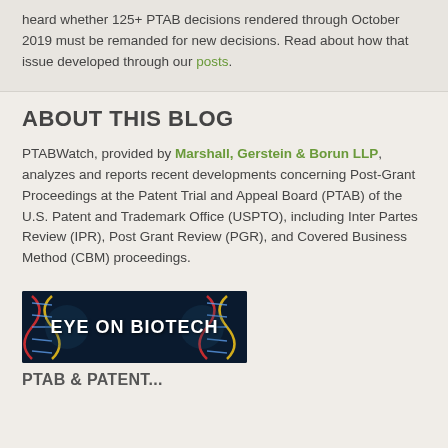heard whether 125+ PTAB decisions rendered through October 2019 must be remanded for new decisions. Read about how that issue developed through our posts.
ABOUT THIS BLOG
PTABWatch, provided by Marshall, Gerstein & Borun LLP, analyzes and reports recent developments concerning Post-Grant Proceedings at the Patent Trial and Appeal Board (PTAB) of the U.S. Patent and Trademark Office (USPTO), including Inter Partes Review (IPR), Post Grant Review (PGR), and Covered Business Method (CBM) proceedings.
[Figure (illustration): Eye on Biotech banner image with DNA double helix background and white bold text reading EYE ON BIOTECH]
PTAB & PATENT...